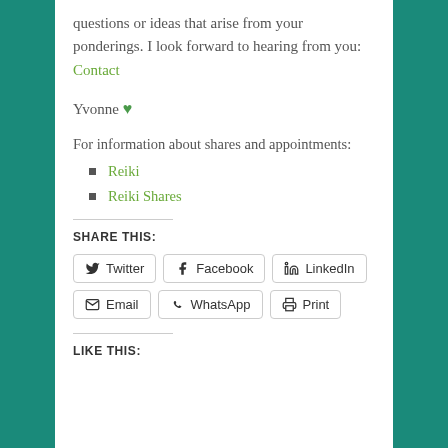questions or ideas that arise from your ponderings. I look forward to hearing from you: Contact
Yvonne 💚
For information about shares and appointments:
Reiki
Reiki Shares
SHARE THIS:
Twitter | Facebook | LinkedIn | Email | WhatsApp | Print
LIKE THIS: